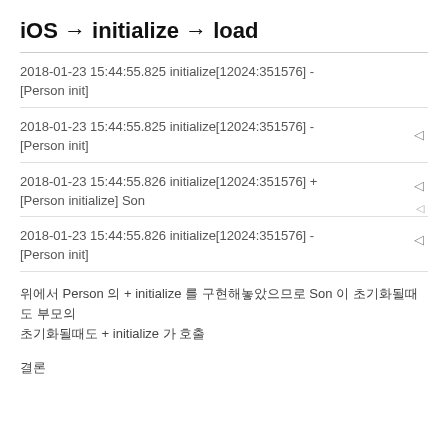iOS → initialize → load
2018-01-23 15:44:55.825 initialize[12024:351576] -
[Person init]
2018-01-23 15:44:55.825 initialize[12024:351576] -
[Person init]
2018-01-23 15:44:55.826 initialize[12024:351576] +
[Person initialize] Son
2018-01-23 15:44:55.826 initialize[12024:351576] -
[Person init]
위에서 Person 의 + initialize 를 구현해놓았으므로 Son 이 초기화될때도 부모의 + initialize 가 호출
결론